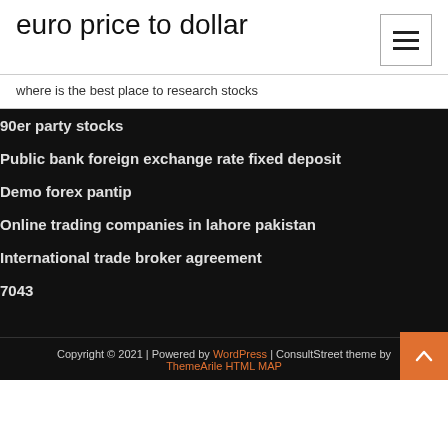euro price to dollar
where is the best place to research stocks
90er party stocks
Public bank foreign exchange rate fixed deposit
Demo forex pantip
Online trading companies in lahore pakistan
International trade broker agreement
7043
Copyright © 2021 | Powered by WordPress | ConsultStreet theme by ThemeArile HTML MAP